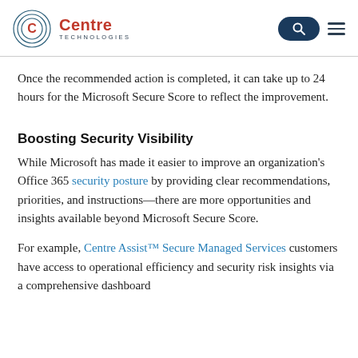Centre Technologies
Once the recommended action is completed, it can take up to 24 hours for the Microsoft Secure Score to reflect the improvement.
Boosting Security Visibility
While Microsoft has made it easier to improve an organization's Office 365 security posture by providing clear recommendations, priorities, and instructions—there are more opportunities and insights available beyond Microsoft Secure Score.
For example, Centre Assist™ Secure Managed Services customers have access to operational efficiency and security risk insights via a comprehensive dashboard